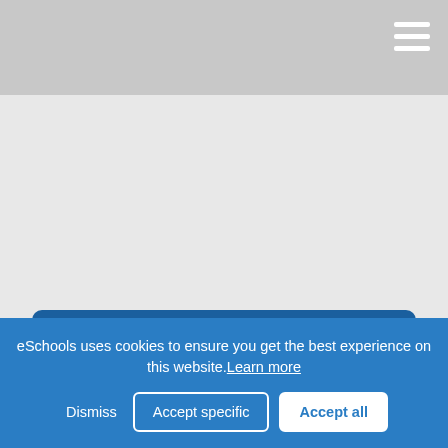[Figure (screenshot): Navigation bar with hamburger menu icon (three white horizontal lines) on a light gray background]
[Figure (screenshot): Light gray content area placeholder for website banner/image]
The last day of term is Friday 22nd July. School will close at 1pm for pupils on this day.
eSchools uses cookies to ensure you get the best experience on this website. Learn more
Dismiss
Accept specific
Accept all